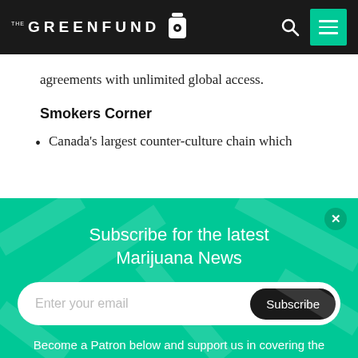THE GREENFUND
agreements with unlimited global access.
Smokers Corner
Canada's largest counter-culture chain which
Subscribe for the latest Marijuana News
Enter your email
Become a Patron below and support us in covering the latest marijuana news!
Become a patron